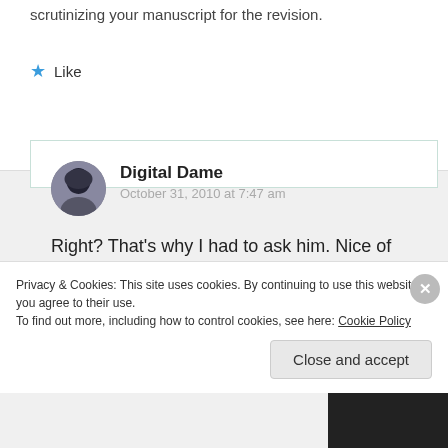scrutinizing your manuscript for the revision.
Like
Digital Dame
October 31, 2010 at 7:47 am
Right? That's why I had to ask him. Nice of him to respond to me, too. I'd be willing to bet he's not the only well-known author to be joining in. I wonder who else is?
Privacy & Cookies: This site uses cookies. By continuing to use this website, you agree to their use.
To find out more, including how to control cookies, see here: Cookie Policy
Close and accept